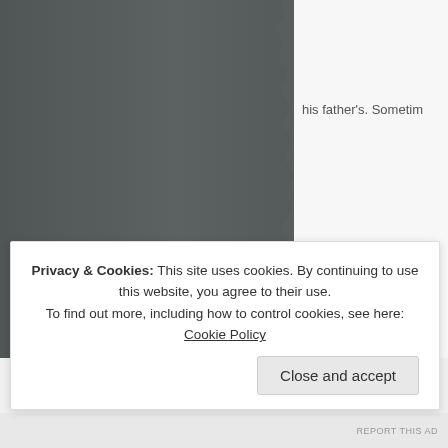[Figure (photo): Dark grey/slate colored image occupying the left portion of the page, resembling a textured or torn surface]
his father's. Sometim
Privacy & Cookies: This site uses cookies. By continuing to use this website, you agree to their use.
To find out more, including how to control cookies, see here: Cookie Policy
REPORT THIS AD